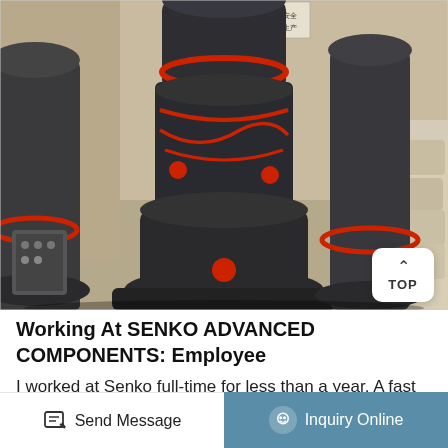[Figure (photo): Industrial machinery photo showing large heavy-duty cone crusher machines in a factory/warehouse setting. The machines are dark grey/black with red accents and are arranged in a row. Background shows concrete walls with stacked bags, Chinese text signs visible at top.]
Working At SENKO ADVANCED COMPONENTS: Employee
I worked at Senko full-time for less than a year. A fast paced company with not enough training and more being on your own and less guidance. Low pay and okay benefits. Company is run by
Send Message
Inquiry Online